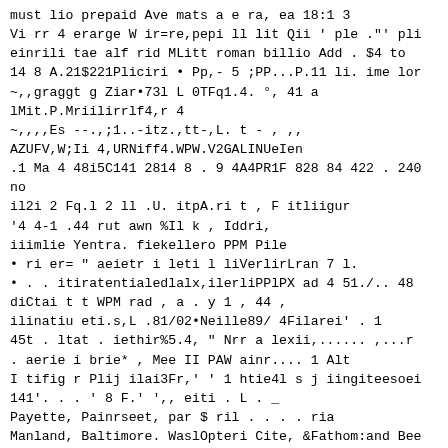must lio prepaid Ave mats a e ra, ea 18:1 3
Vi rr 4 erarge W ir=re,pepi ll lit Qii ' ple ."' pli
einrili tae alf rid MLitt roman billio Add . $4 to
14 8 A.21$221Pliciri • Pp,- 5 ;PP...P.11 li. ime lor
~,,graggt g Ziar•73l L 0TFq1.4. °, 41 a
lMit.P.Mriilirrlf4,r 4
~,,,,Es --.,;1..-itz.,tt-,L. t - , ,,
AZUFV,W;Ii 4,URNiff4.WPW.V2GALINUeIen
.1 Ma 4 48i5C141 2814 8 . 9 4A4PR1F 828 84 422 . 240
no
il2i 2 Fq.l 2 ll .U. itpA.ri t , F itliigur
'4 4-1 .44 rut awn %Il k , Iddri,
iiimlie Yentra. fiekellero PPM Pile
• ri er= " aeietr i leti l liVerlirLran 7 l.
• . . itiratentialedlalx,ilerliPPlPX ad 4 51./.. 48
diCtai t t WPM rad , a . y 1 , 44 ,
ilinatiu eti.s,L .81/02•Neille89/ 4Filarei' . 1
45t . ltat . iethir%5.4, " Nrr a lexii,...... ,...r
. aerie i brie* , Mee II PAW ainr.... 1 Alt
I tifig r Plij ilai3Fr,' ' 1 htie4l s j iingiteesoei
141'. . . ' 8 F.' ',, eiti . L . _
Payette, Painrseet, par $ ril . . . . ria
Manland, Baltimore. WaslOpteri Cite, &Fathom:and Bee
era parte of OP it, .4 I euliaaa,, Ifiernarty, 118 e